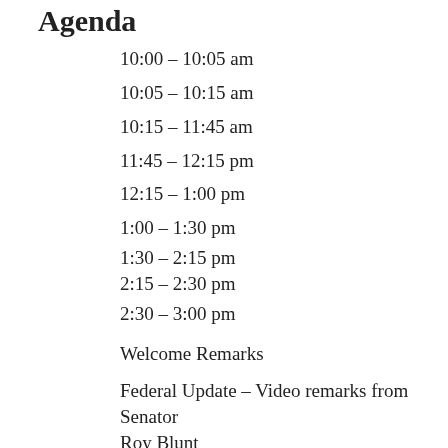Agenda
10:00 – 10:05 am
10:05 – 10:15 am
10:15 – 11:45 am
11:45 – 12:15 pm
12:15 – 1:00 pm
1:00 – 1:30 pm
1:30 – 2:15 pm
2:15 – 2:30 pm
2:30 – 3:00 pm
Welcome Remarks
Federal Update – Video remarks from Senator Roy Blunt